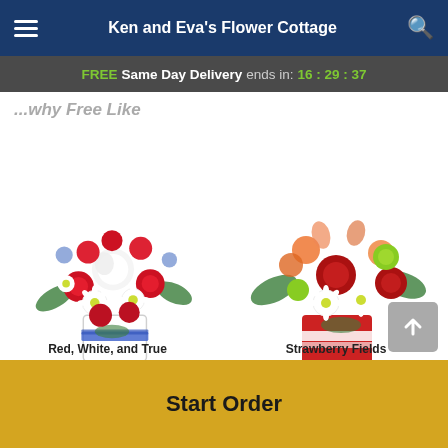Ken and Eva's Flower Cottage
FREE Same Day Delivery ends in: 16:29:37
...why Free Like
[Figure (photo): Red, White, and True flower bouquet with red roses, white daisies, and blue ribbon in white box vase]
[Figure (photo): Strawberry Fields flower bouquet with red roses, orange alstroemeria, white daisies, and green mums in red cube vase]
Red, White, and True
Strawberry Fields
Start Order